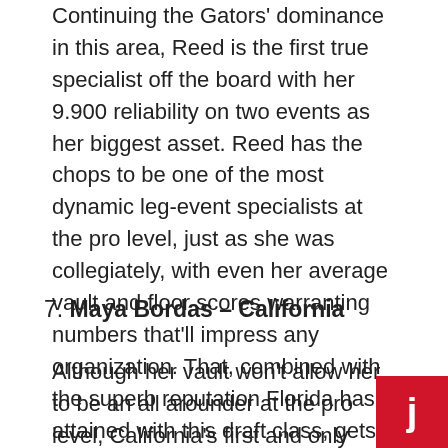Continuing the Gators' dominance in this area, Reed is the first true specialist off the board with her 9.900 reliability on two events as her biggest asset. Reed has the chops to be one of the most dynamic leg-event specialists at the pro level, just as she was collegiately, with even her average vault and floor scores warranting numbers that'll impress any organization. That, combined with the superb reputation Florida has attained with this draft class, gets the specialist Reed drafted ahead of some NCAA stalwart all arounders.
7. Maya Bordas – California
Although her vault won't allow her to be an all arounder at the pro level, California's first and only national champion is a viable option on the other three events thanks to improved outings on beam and floor
[Figure (logo): Red square badge with white stylized letter J or similar logo mark]